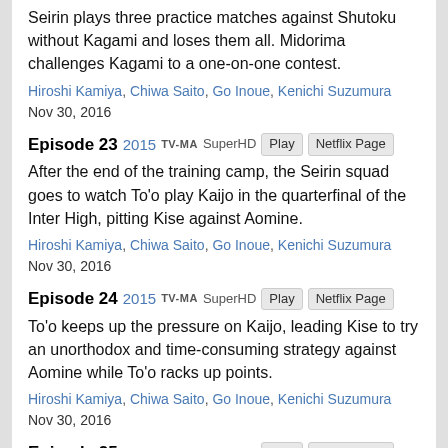Seirin plays three practice matches against Shutoku without Kagami and loses them all. Midorima challenges Kagami to a one-on-one contest.
Hiroshi Kamiya, Chiwa Saito, Go Inoue, Kenichi Suzumura Nov 30, 2016
Episode 23 2015 TV-MA SuperHD Play Netflix Page
After the end of the training camp, the Seirin squad goes to watch To'o play Kaijo in the quarterfinal of the Inter High, pitting Kise against Aomine.
Hiroshi Kamiya, Chiwa Saito, Go Inoue, Kenichi Suzumura Nov 30, 2016
Episode 24 2015 TV-MA SuperHD Play Netflix Page
To'o keeps up the pressure on Kaijo, leading Kise to try an unorthodox and time-consuming strategy against Aomine while To'o racks up points.
Hiroshi Kamiya, Chiwa Saito, Go Inoue, Kenichi Suzumura Nov 30, 2016
Episode 25 2015 TV-MA SuperHD Play Netflix Page
Aomine and Kise go head-to-head in the fourth quarter, giving it their all. Watching, Kuroko and Kagami vow to develop their own style of basketball.